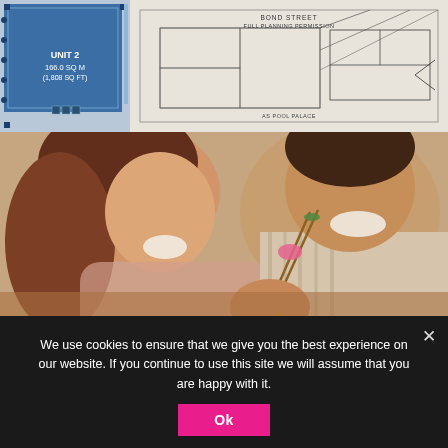[Figure (schematic): Floor plan schematic showing Unit 2, 166.0 SQ M (1,808 SQ FT) in blue, with accompanying architectural blueprint/site plan lines on a beige background including text 'BOND STREET', 'FULL PLANNING PERMISSION', and 'AS POOL PALACE']
[Figure (photo): Close-up photo of a smiling woman with brown hair and a man in a striped shirt eating sushi with chopsticks at a restaurant]
We use cookies to ensure that we give you the best experience on our website. If you continue to use this site we will assume that you are happy with it.